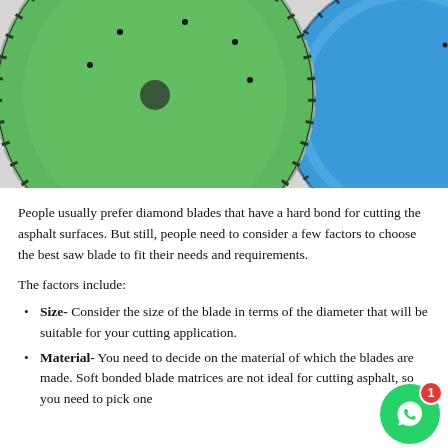[Figure (photo): Two circular diamond saw blades overlapping — one green in front, one blue behind — showing their segmented cutting edges with silver/grey diamond segments around the perimeter. The blades are photographed against a light grey/white background.]
People usually prefer diamond blades that have a hard bond for cutting the asphalt surfaces. But still, people need to consider a few factors to choose the best saw blade to fit their needs and requirements.
The factors include:
Size- Consider the size of the blade in terms of the diameter that will be suitable for your cutting application.
Material- You need to decide on the material of which the blades are made. Soft bonded blade matrices are not ideal for cutting asphalt, so you need to pick one